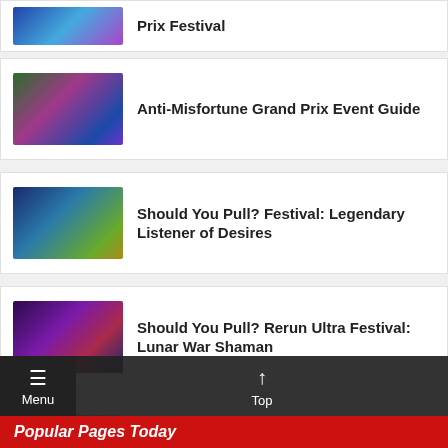Prix Festival
Anti-Misfortune Grand Prix Event Guide
Should You Pull? Festival: Legendary Listener of Desires
Should You Pull? Rerun Ultra Festival: Lunar War Shaman
Reroll Guide (Updated for C3 Yukari!)
Popular Pages Today